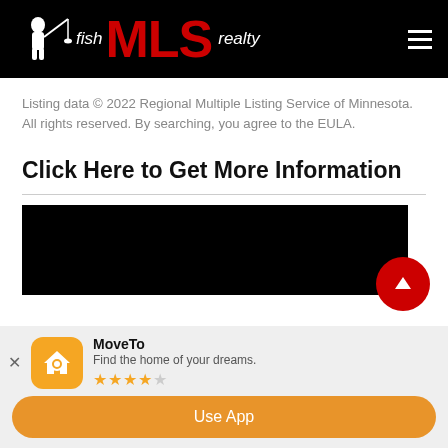fish MLS realty
Listing data © 2022 Regional Multiple Listing Service of Minnesota. All rights reserved. By searching, you agree to the EULA.
Click Here to Get More Information
[Figure (screenshot): Black rectangle image placeholder with a red circular upload/scroll-up button in the lower right corner]
MoveTo
Find the home of your dreams.
★★★★☆
Use App